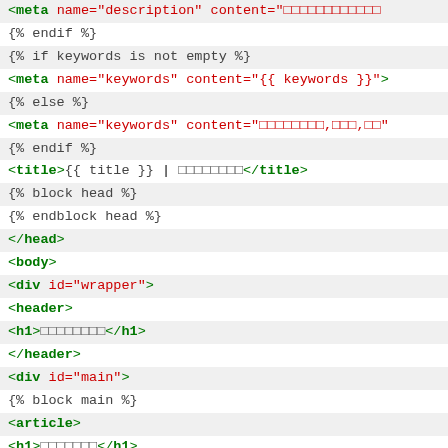[Figure (screenshot): Code listing showing HTML template with Django/Jinja2 template tags. Lines include meta tags, title, head/body/div/header/article/footer elements with template variables and block tags.]